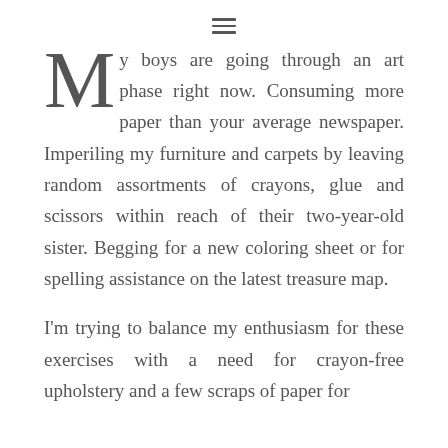≡
My boys are going through an art phase right now. Consuming more paper than your average newspaper. Imperiling my furniture and carpets by leaving random assortments of crayons, glue and scissors within reach of their two-year-old sister. Begging for a new coloring sheet or for spelling assistance on the latest treasure map.
I'm trying to balance my enthusiasm for these exercises with a need for crayon-free upholstery and a few scraps of paper for